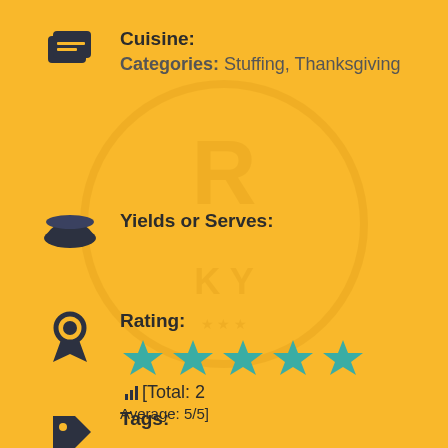Cuisine:
Categories: Stuffing, Thanksgiving
Yields or Serves:
Rating:
[Total: 2 Average: 5/5]
Tags: